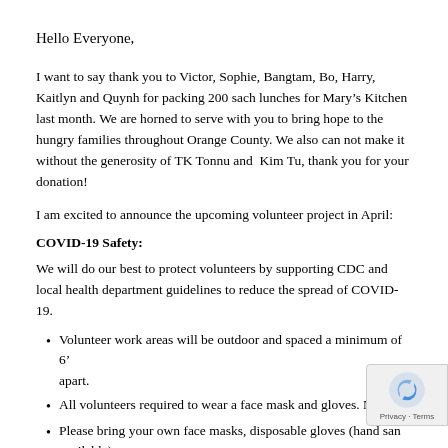Hello Everyone,
I want to say thank you to Victor, Sophie, Bangtam, Bo, Harry, Kaitlyn and Quynh for packing 200 sach lunches for Mary’s Kitchen last month. We are horned to serve with you to bring hope to the hungry families throughout Orange County. We also can not make it without the generosity of TK Tonnu and  Kim Tu, thank you for your donation!
I am excited to announce the upcoming volunteer project in April:
COVID-19 Safety:
We will do our best to protect volunteers by supporting CDC and local health department guidelines to reduce the spread of COVID-19.
Volunteer work areas will be outdoor and spaced a minimum of 6’ apart.
All volunteers required to wear a face mask and gloves. No exc
Please bring your own face masks, disposable gloves (hand san available)